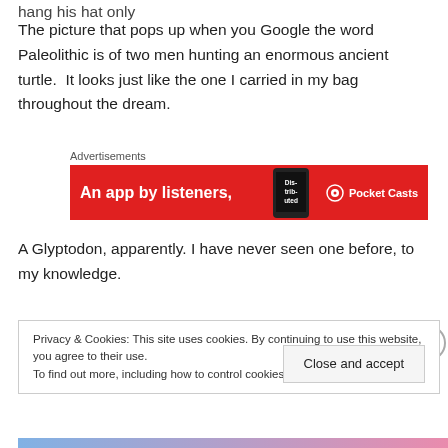hang his hat only
The picture that pops up when you Google the word Paleolithic is of two men hunting an enormous ancient turtle.  It looks just like the one I carried in my bag throughout the dream.
[Figure (screenshot): Advertisement banner for Pocket Casts app: red background with text 'An app by listeners,' and Pocket Casts logo, with a phone image showing 'Distributed']
A Glyptodon, apparently. I have never seen one before, to my knowledge.
Privacy & Cookies: This site uses cookies. By continuing to use this website, you agree to their use.
To find out more, including how to control cookies, see here: Cookie Policy
Close and accept